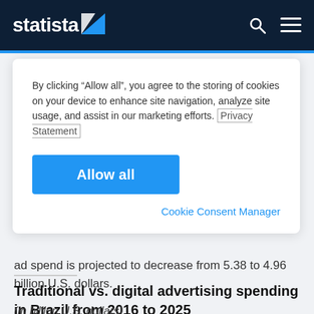statista
By clicking “Allow all”, you agree to the storing of cookies on your device to enhance site navigation, analyze site usage, and assist in our marketing efforts. Privacy Statement
Allow all
Cookie Consent Manager
ad spend is projected to decrease from 5.38 to 4.96 billion U.S. dollars.
Traditional vs. digital advertising spending in Brazil from 2016 to 2025
(in billion U.S. dollars)